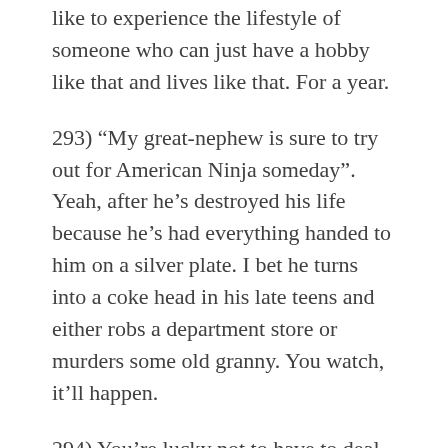like to experience the lifestyle of someone who can just have a hobby like that and lives like that. For a year.
293) “My great-nephew is sure to try out for American Ninja someday”. Yeah, after he’s destroyed his life because he’s had everything handed to him on a silver plate. I bet he turns into a coke head in his late teens and either robs a department store or murders some old granny. You watch, it’ll happen.
294) You’re lucky not to have to deal with squirrels and chipmunks. They are a plague right now in our area 😐
295) Good for you for searching the Erma tion...